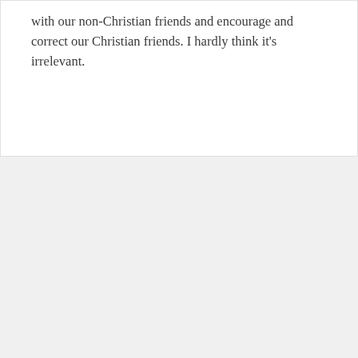with our non-Christian friends and encourage and correct our Christian friends. I hardly think it's irrelevant.
RECENT POSTS
Potentiality from first principles
God causes evil actions without causing the evil in